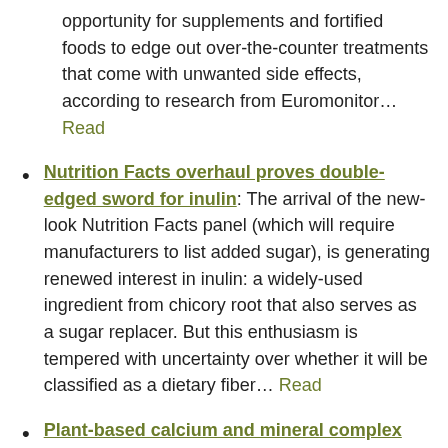opportunity for supplements and fortified foods to edge out over-the-counter treatments that come with unwanted side effects, according to research from Euromonitor… Read
Nutrition Facts overhaul proves double-edged sword for inulin: The arrival of the new-look Nutrition Facts panel (which will require manufacturers to list added sugar), is generating renewed interest in inulin: a widely-used ingredient from chicory root that also serves as a sugar replacer. But this enthusiasm is tempered with uncertainty over whether it will be classified as a dietary fiber… Read
Plant-based calcium and mineral complex offers digestive health potential: Red seaweed-derived calcium and other…